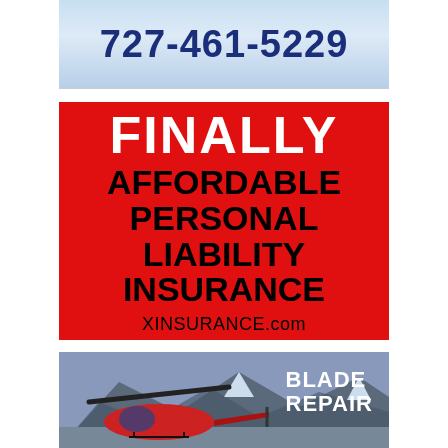[Figure (photo): Sky background with phone number 727-461-5229 in dark blue bold text]
[Figure (infographic): Red background advertisement reading: FINALLY AFFORDABLE PERSONAL LIABILITY INSURANCE XINSURANCE.com]
[Figure (photo): Helicopter in mountain landscape with text BLADE REPAIR]